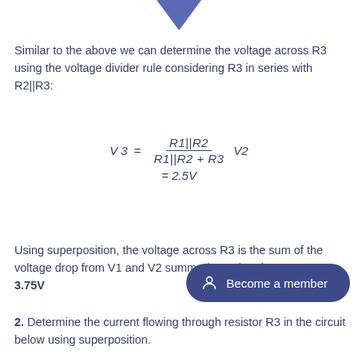[Figure (other): Downward-pointing triangle arrow at top of page]
Similar to the above we can determine the voltage across R3 using the voltage divider rule considering R3 in series with R2||R3:
Using superposition, the voltage across R3 is the sum of the voltage drop from V1 and V2 summed together, i.e: 3.75V
2. Determine the current flowing through resistor R3 in the circuit below using superposition.